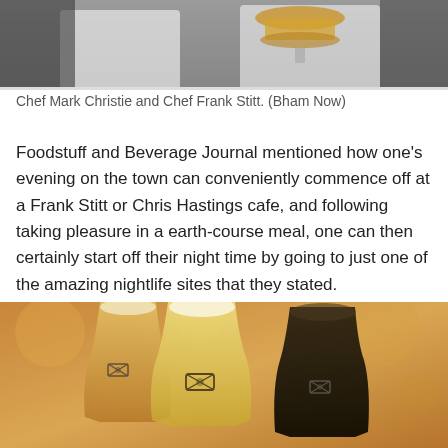[Figure (photo): Chef in white coat holding a cake on a platter, another person partially visible, cropped top portion]
Chef Mark Christie and Chef Frank Stitt. (Bham Now)
Foodstuff and Beverage Journal mentioned how one's evening on the town can conveniently commence off at a Frank Stitt or Chris Hastings cafe, and following taking pleasure in a earth-course meal, one can then certainly start off their night time by going to just one of the amazing nightlife sites that they stated.
[Figure (photo): Three beer glasses with branded logos on them, warm bokeh background, close-up shot]